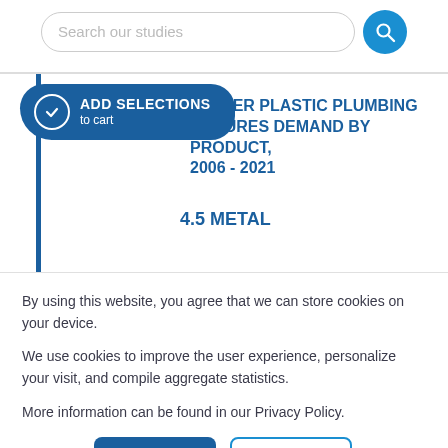[Figure (screenshot): Search bar with placeholder text 'Search our studies' and a blue circular search icon button]
OTHER PLASTIC PLUMBING FIXTURES DEMAND BY PRODUCT, 2006 - 2021
4.5 METAL
By using this website, you agree that we can store cookies on your device.
We use cookies to improve the user experience, personalize your visit, and compile aggregate statistics.
More information can be found in our Privacy Policy.